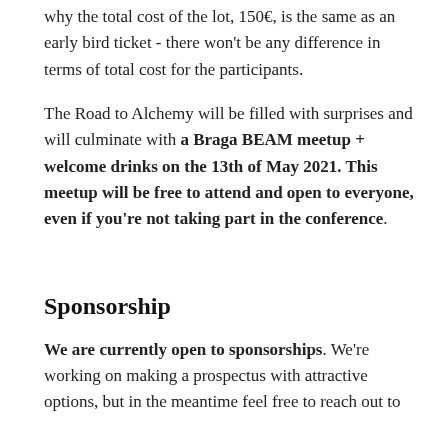why the total cost of the lot, 150€, is the same as an early bird ticket - there won't be any difference in terms of total cost for the participants.
The Road to Alchemy will be filled with surprises and will culminate with a Braga BEAM meetup + welcome drinks on the 13th of May 2021. This meetup will be free to attend and open to everyone, even if you're not taking part in the conference.
Sponsorship
We are currently open to sponsorships. We're working on making a prospectus with attractive options, but in the meantime feel free to reach out to